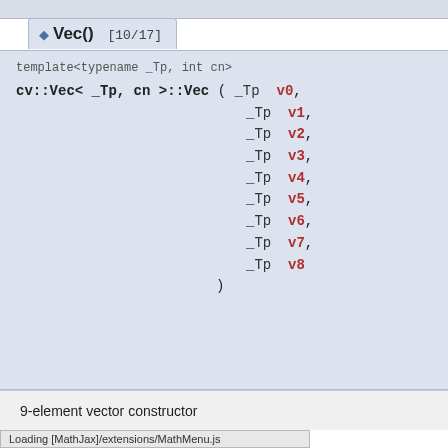Vec() [10/17]
template<typename _Tp, int cn>
cv::Vec< _Tp, cn >::Vec ( _Tp v0,
 _Tp v1,
 _Tp v2,
 _Tp v3,
 _Tp v4,
 _Tp v5,
 _Tp v6,
 _Tp v7,
 _Tp v8
 )
9-element vector constructor
Loading [MathJax]/extensions/MathMenu.js